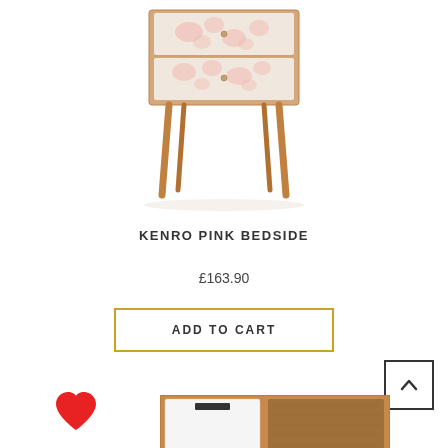[Figure (photo): Kenro pink bedside table with floral-patterned drawers and wooden legs on white background]
KENRO PINK BEDSIDE
£163.90
ADD TO CART
[Figure (other): Back to top button with upward chevron arrow inside a square border]
[Figure (other): Red heart/favourite icon]
[Figure (photo): Partial view of a second bedside unit with white drawer and open shelf compartment]